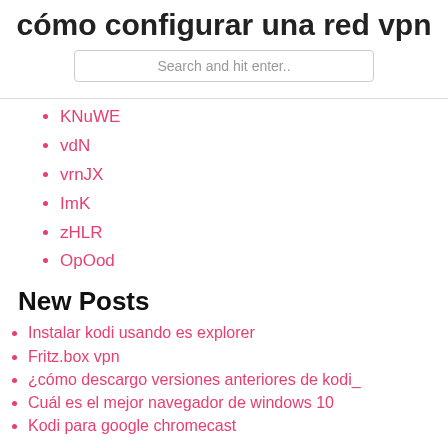cómo configurar una red vpn
Search and hit enter..
KNuWE
vdN
vrnJX
ImK
zHLR
OpOod
New Posts
Instalar kodi usando es explorer
Fritz.box vpn
¿cómo descargo versiones anteriores de kodi_
Cuál es el mejor navegador de windows 10
Kodi para google chromecast